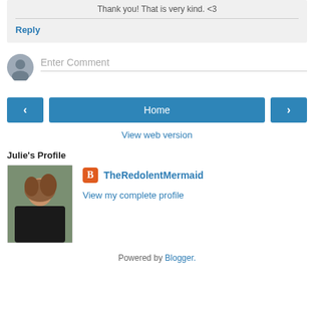Thank you! That is very kind. <3
Reply
Enter Comment
Home
View web version
Julie's Profile
TheRedolentMermaid
View my complete profile
Powered by Blogger.